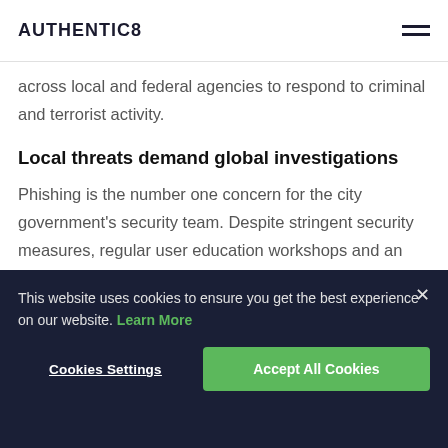AUTHENTIC8
across local and federal agencies to respond to criminal and terrorist activity.
Local threats demand global investigations
Phishing is the number one concern for the city government's security team. Despite stringent security measures, regular user education workshops and an exhaustive list of blocked IPs, bad actors routinely seem to find ways to penetrate the city-run IT infrastructure, which
This website uses cookies to ensure you get the best experience on our website. Learn More
Cookies Settings
Accept All Cookies